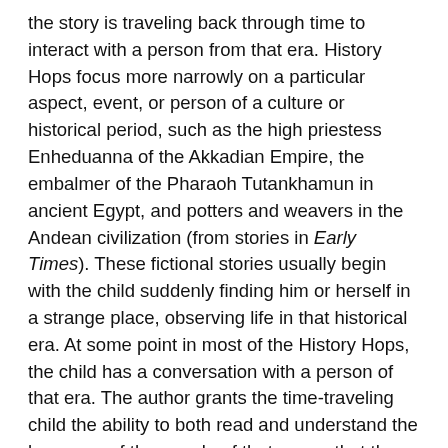the story is traveling back through time to interact with a person from that era. History Hops focus more narrowly on a particular aspect, event, or person of a culture or historical period, such as the high priestess Enheduanna of the Akkadian Empire, the embalmer of the Pharaoh Tutankhamun in ancient Egypt, and potters and weavers in the Andean civilization (from stories in Early Times). These fictional stories usually begin with the child suddenly finding him or herself in a strange place, observing life in that historical era. At some point in most of the History Hops, the child has a conversation with a person of that era. The author grants the time-traveling child the ability to both read and understand the language of the people of that era so that they glean historical and cultural information from conversations and observations in their time-travel surroundings.
This two-part approach allows the authors to include more information than other history series that rely almost exclusively on a story-telling approach—series such as The Story of the World by Susan Wise Bauer, The World's Story by